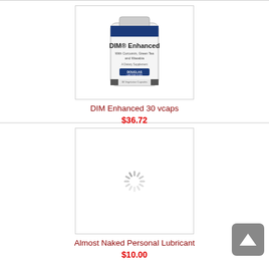[Figure (photo): DIM Enhanced supplement bottle from Douglas Laboratories — white cylindrical bottle with blue label stripe]
DIM Enhanced 30 vcaps
$36.72
[Figure (photo): Loading spinner / placeholder image for Almost Naked Personal Lubricant product]
Almost Naked Personal Lubricant
$10.00